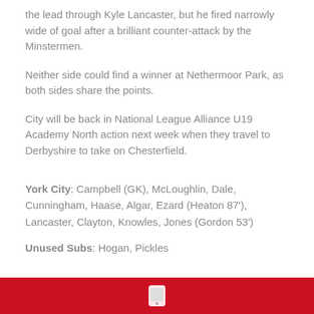the lead through Kyle Lancaster, but he fired narrowly wide of goal after a brilliant counter-attack by the Minstermen.
Neither side could find a winner at Nethermoor Park, as both sides share the points.
City will be back in National League Alliance U19 Academy North action next week when they travel to Derbyshire to take on Chesterfield.
York City: Campbell (GK), McLoughlin, Dale, Cunningham, Haase, Algar, Ezard (Heaton 87'), Lancaster, Clayton, Knowles, Jones (Gordon 53')
Unused Subs: Hogan, Pickles
[Figure (other): Red footer bar with a white phone/device icon]